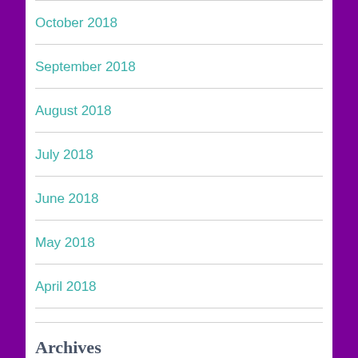October 2018
September 2018
August 2018
July 2018
June 2018
May 2018
April 2018
March 2018
Archives